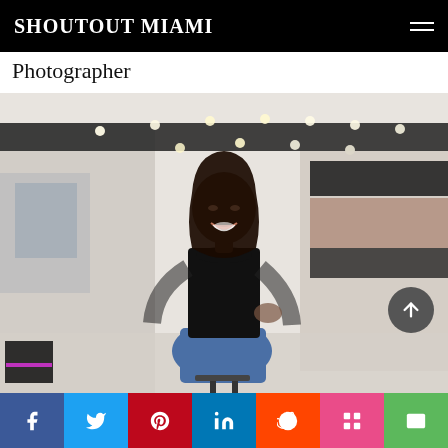SHOUTOUT MIAMI
Photographer
[Figure (photo): A woman wearing a black sheer ruffled top and blue jeans sitting outdoors on a stool on an urban street with string lights and storefronts in the background, smiling at the camera.]
Social share buttons: Facebook, Twitter, Pinterest, LinkedIn, Reddit, Mix, Email